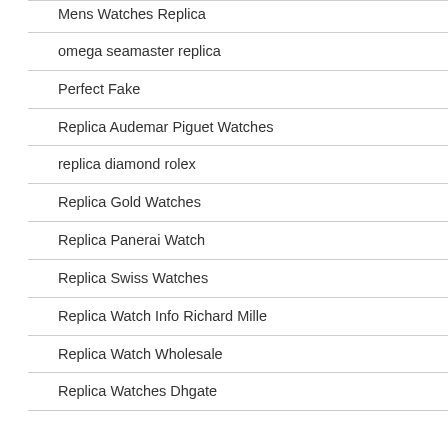Mens Watches Replica
omega seamaster replica
Perfect Fake
Replica Audemar Piguet Watches
replica diamond rolex
Replica Gold Watches
Replica Panerai Watch
Replica Swiss Watches
Replica Watch Info Richard Mille
Replica Watch Wholesale
Replica Watches Dhgate